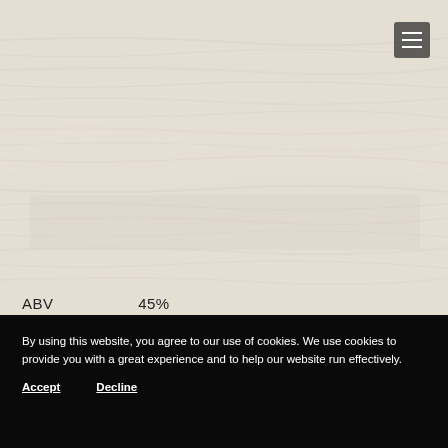[Figure (photo): Whitewashed wood grain texture background filling the upper portion of the page]
ABV    45%
By using this website, you agree to our use of cookies. We use cookies to provide you with a great experience and to help our website run effectively.
Accept   Decline